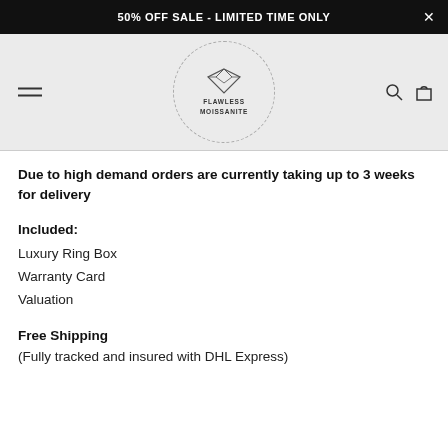50% OFF SALE - LIMITED TIME ONLY
[Figure (logo): Flawless Moissanite logo: diamond icon inside a circular dashed border with text FLAWLESS MOISSANITE]
Due to high demand orders are currently taking up to 3 weeks for delivery
Included:
Luxury Ring Box
Warranty Card
Valuation
Free Shipping
(Fully tracked and insured with DHL Express)